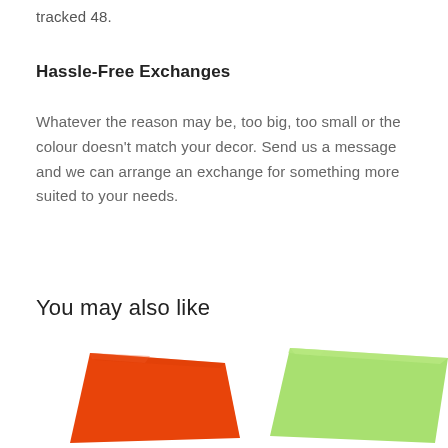tracked 48.
Hassle-Free Exchanges
Whatever the reason may be, too big, too small or the colour doesn't match your decor. Send us a message and we can arrange an exchange for something more suited to your needs.
You may also like
[Figure (photo): Two decorative pillows: one orange on the left, one light green on the right, partially visible at the bottom of the page.]